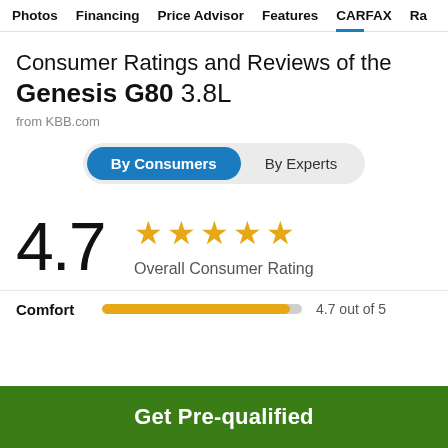Photos  Financing  Price Advisor  Features  CARFAX  Ra
Consumer Ratings and Reviews of the Genesis G80 3.8L
from KBB.com
[Figure (infographic): Toggle button group with 'By Consumers' (active, blue) and 'By Experts' options]
[Figure (infographic): Large rating display showing 4.7 with 5 gold stars and 'Overall Consumer Rating' label]
[Figure (infographic): Comfort rating bar showing 4.7 out of 5 with a yellow progress bar]
Get Pre-qualified